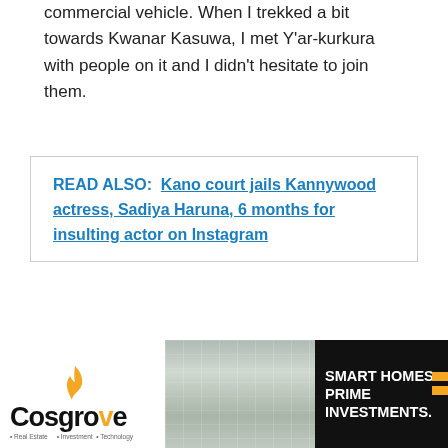commercial vehicle. When I trekked a bit towards Kwanar Kasuwa, I met Y'ar-kurkura with people on it and I didn't hesitate to join them.
READ ALSO:  Kano court jails Kannywood actress, Sadiya Haruna, 6 months for insulting actor on Instagram
“When we were set, a guy stood up and started collecting the fare. That is how I came to Fagge, my place of work,” Mr Jamilu narrated.
[Figure (infographic): Row of social media sharing icons: WhatsApp, Facebook, Twitter, LinkedIn, Telegram, Pinterest, Reddit, Email]
[Figure (infographic): Cosgrove real estate advertisement banner with logo, building photo, and text SMART HOMES. PRIME INVESTMENTS.]